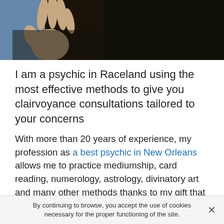[Figure (photo): A person wearing a dark black robe or clothing with a raised hand visible, against a blue background on the left side.]
I am a psychic in Raceland using the most effective methods to give you clairvoyance consultations tailored to your concerns
With more than 20 years of experience, my profession as a best psychic in New Orleans allows me to practice mediumship, card reading, numerology, astrology, divinatory art and many other methods thanks to my gift that I will gladly put to your benefit. So if you are looking for a psychic in Raceland who will offer resolutions to your questions, no matter what their nature, a tarot reader or an astrologer to interpret the signs or occult waves that you may feel around you, you can make an appointment with my clairvoyance office in all serenity.
By continuing to browse, you accept the use of cookies necessary for the proper functioning of the site.